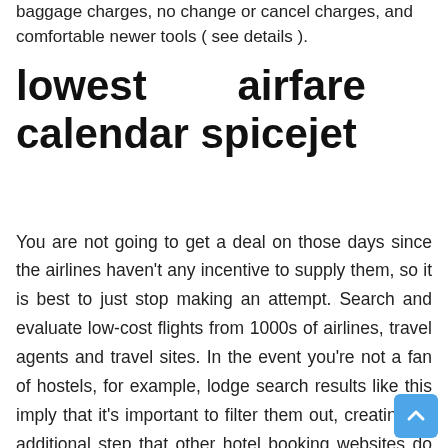baggage charges, no change or cancel charges, and comfortable newer tools ( see details ).
lowest airfare calendar spicejet
You are not going to get a deal on those days since the airlines haven't any incentive to supply them, so it is best to just stop making an attempt. Search and evaluate low-cost flights from 1000s of airlines, travel agents and travel sites. In the event you're not a fan of hostels, for example, lodge search results like this imply that it's important to filter them out, creating an additional step that other hotel booking websites do not require.